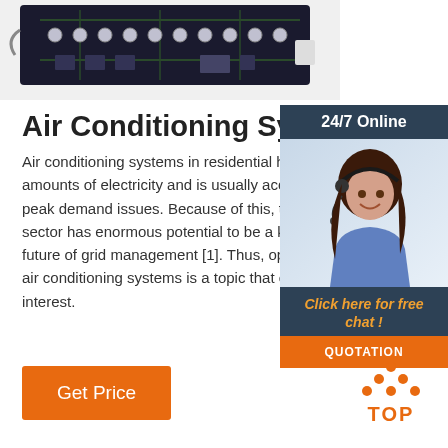[Figure (photo): Circuit board / electronics hardware photo shown at top of page, partially cropped]
Air Conditioning System - an o...
Air conditioning systems in residential houses consume large amounts of electricity and is usually accompanied by large peak demand issues. Because of this, the residential AC sector has enormous potential to be a key player in the future of grid management [1]. Thus, optimizing air conditioning systems is a topic that earned global interest.
[Figure (infographic): 24/7 Online chat widget with agent photo, 'Click here for free chat!' text, and QUOTATION button]
[Figure (infographic): TOP scroll-to-top button with orange dots icon]
Get Price